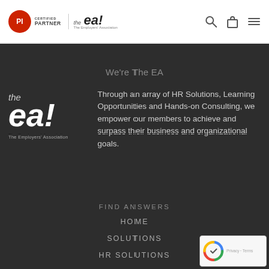[Figure (logo): PI Certified Partner badge and The Employers Association (the ea!) logo in site header]
We're The EA
[Figure (logo): the ea! - The Employers' Association logo in white and light gray on dark background]
Through an array of HR Solutions, Learning Opportunities and Hands-on Consulting, we empower our members to achieve and surpass their business and organizational goals.
FIND ANSWERS
HOME
SOLUTIONS
HR SOLUTIONS